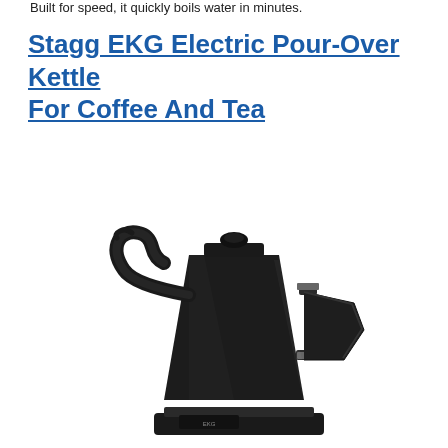Built for speed, it quickly boils water in minutes.
Stagg EKG Electric Pour-Over Kettle For Coffee And Tea
[Figure (photo): A matte black Stagg EKG electric pour-over kettle with a gooseneck spout and angular handle, shown on its electric base against a white background.]